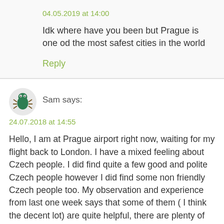04.05.2019 at 14:00
Idk where have you been but Prague is one od the most safest cities in the world
Reply
Sam says:
24.07.2018 at 14:55
Hello, I am at Prague airport right now, waiting for my flight back to London. I have a mixed feeling about Czech people. I did find quite a few good and polite Czech people however I did find some non friendly Czech people too. My observation and experience from last one week says that some of them ( I think the decent lot) are quite helpful, there are plenty of Czechs with little tolerance and lack of politeness too. A simple example would be whilst shopping at